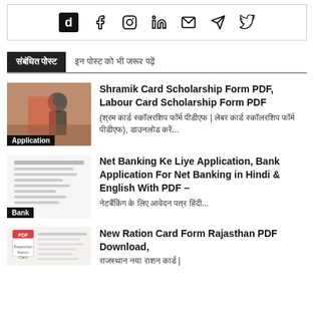[Figure (infographic): Social media icons bar: daily (d logo), facebook, instagram, linkedin, email, telegram, twitter]
संबंधित पोस्ट | इन पोस्ट को भी जरूर पढ़ें
[Figure (photo): Worker in safety gear / Application category thumbnail]
Shramik Card Scholarship Form PDF, Labour Card Scholarship Form PDF (श्रम कार्ड स्कॉलरशिप फॉर्म पीडीएफ | लेबर कार्ड स्कॉलरशिप फॉर्म पीडीएफ), डाउनलोड करें...
[Figure (photo): Bank application document / Bank category thumbnail]
Net Banking Ke Liye Application, Bank Application For Net Banking in Hindi & English With PDF – नेटबैंकिंग के लिए आवेदन पत्र हिंदी...
[Figure (photo): New Ration Card Form Rajasthan PDF document thumbnail]
New Ration Card Form Rajasthan PDF Download, राजस्थान नया राशन कार्ड |